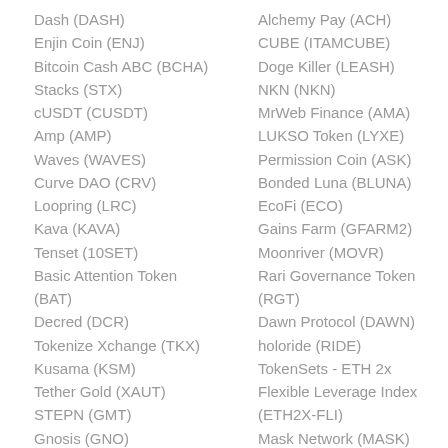Dash (DASH)
Enjin Coin (ENJ)
Bitcoin Cash ABC (BCHA)
Stacks (STX)
cUSDT (CUSDT)
Amp (AMP)
Waves (WAVES)
Curve DAO (CRV)
Loopring (LRC)
Kava (KAVA)
Tenset (10SET)
Basic Attention Token (BAT)
Decred (DCR)
Tokenize Xchange (TKX)
Kusama (KSM)
Tether Gold (XAUT)
STEPN (GMT)
Gnosis (GNO)
Alchemy Pay (ACH)
CUBE (ITAMCUBE)
Doge Killer (LEASH)
NKN (NKN)
MrWeb Finance (AMA)
LUKSO Token (LYXE)
Permission Coin (ASK)
Bonded Luna (BLUNA)
EcoFi (ECO)
Gains Farm (GFARM2)
Moonriver (MOVR)
Rari Governance Token (RGT)
Dawn Protocol (DAWN)
holoride (RIDE)
TokenSets - ETH 2x Flexible Leverage Index (ETH2X-FLI)
Mask Network (MASK)